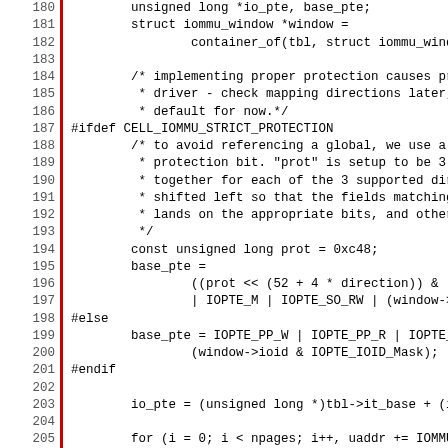[Figure (other): Source code listing showing lines 180-211 of a C kernel driver file dealing with IOMMU window mapping, CELL_IOMMU_STRICT_PROTECTION preprocessor block, and PTE setup. A red vertical bar marks the left margin of the code area.]